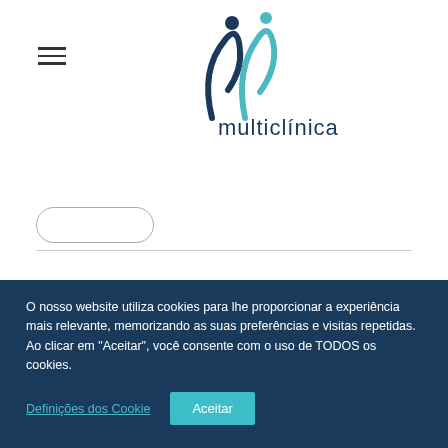[Figure (logo): Multiclínica logo with two stylized human figures in teal/dark blue and the text 'multiclínica' in dark blue]
O nosso website utiliza cookies para lhe proporcionar a experiência mais relevante, memorizando as suas preferências e visitas repetidas.
Ao clicar em "Aceitar", você consente com o uso de TODOS os cookies.
Definições dos Cookie
Aceitar